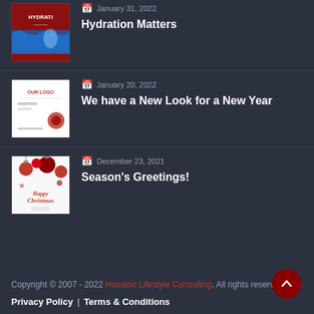[Figure (illustration): Thumbnail image for Hydration Matters post — red background with water/hydration theme and text 'HYDRATION']
January 31, 2022
Hydration Matters
[Figure (illustration): Thumbnail image for New Look post — white background showing logo/branding design with 'OUR LOGO' text]
January 20, 2022
We have a New Look for a New Year
[Figure (illustration): Thumbnail image for Season's Greetings post — Christmas theme with red ornaments and 'Happy Christmas' text]
December 23, 2021
Season's Greetings!
Copyright © 2007 - 2022 Houston Lifestyle Consulting. All rights reserved.
Privacy Policy  |  Terms & Conditions